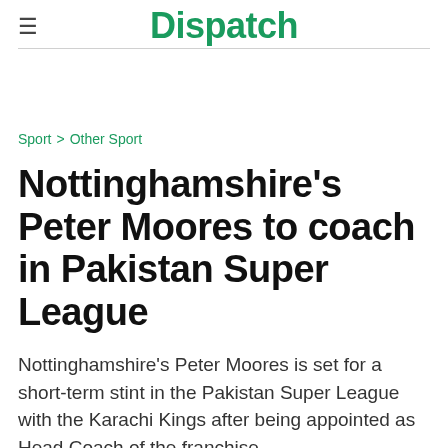Dispatch
Sport > Other Sport
Nottinghamshire's Peter Moores to coach in Pakistan Super League
Nottinghamshire's Peter Moores is set for a short-term stint in the Pakistan Super League with the Karachi Kings after being appointed as Head Coach of the franchise.